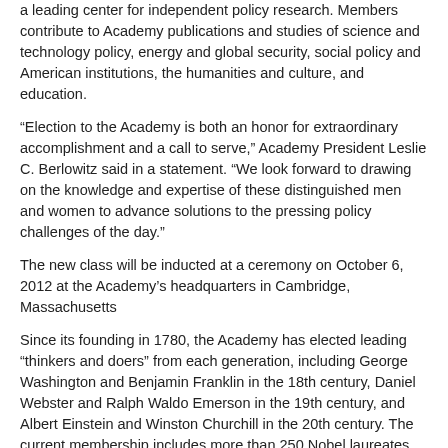a leading center for independent policy research. Members contribute to Academy publications and studies of science and technology policy, energy and global security, social policy and American institutions, the humanities and culture, and education.
“Election to the Academy is both an honor for extraordinary accomplishment and a call to serve,” Academy President Leslie C. Berlowitz said in a statement. “We look forward to drawing on the knowledge and expertise of these distinguished men and women to advance solutions to the pressing policy challenges of the day.”
The new class will be inducted at a ceremony on October 6, 2012 at the Academy’s headquarters in Cambridge, Massachusetts
Since its founding in 1780, the Academy has elected leading “thinkers and doers” from each generation, including George Washington and Benjamin Franklin in the 18th century, Daniel Webster and Ralph Waldo Emerson in the 19th century, and Albert Einstein and Winston Churchill in the 20th century. The current membership includes more than 250 Nobel laureates and more than 60 Pulitzer Prize winners.
Suggested Links
David Autor | MIT SHASS Economics
Amy Finkelstein | MIT SHASS Economics